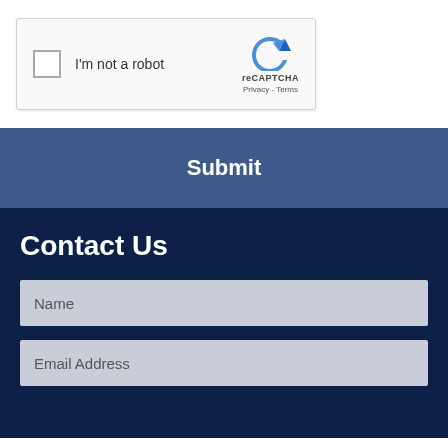[Figure (screenshot): reCAPTCHA widget with checkbox labeled 'I'm not a robot', reCAPTCHA logo, Privacy and Terms links]
Submit
Contact Us
Name
Email Address